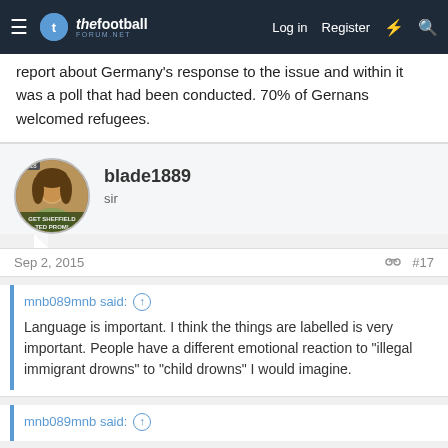thefootballforum.net — Log in | Register
report about Germany's response to the issue and within it was a poll that had been conducted. 70% of Gernans welcomed refugees.
blade1889
sir
Sep 2, 2015  #17
mnb089mnb said: Language is important. I think the things are labelled is very important. People have a different emotional reaction to "illegal immigrant drowns" to "child drowns" I would imagine.
mnb089mnb said: